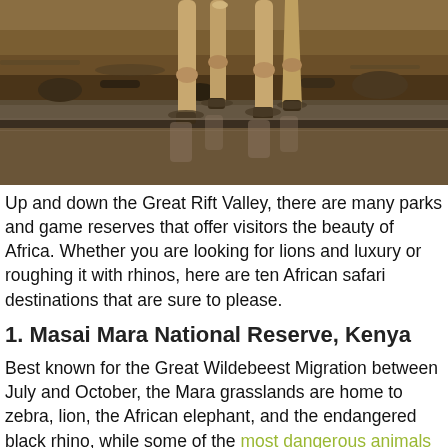[Figure (photo): Close-up photo of a giraffe's legs standing at a water source, with muddy ground and water reflection visible. Dry, arid landscape background.]
Up and down the Great Rift Valley, there are many parks and game reserves that offer visitors the beauty of Africa. Whether you are looking for lions and luxury or roughing it with rhinos, here are ten African safari destinations that are sure to please.
1. Masai Mara National Reserve, Kenya
Best known for the Great Wildebeest Migration between July and October, the Mara grasslands are home to zebra, lion, the African elephant, and the endangered black rhino, while some of the most dangerous animals in the world hippos and crocodiles can be seen in the Mara and Talek